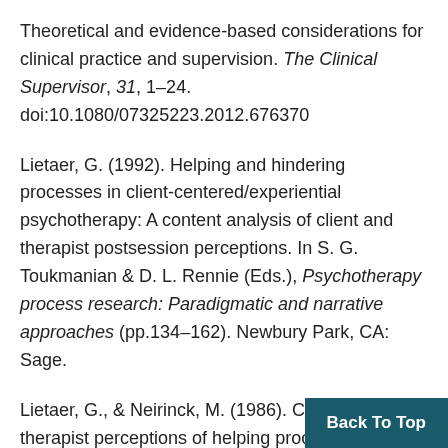Theoretical and evidence-based considerations for clinical practice and supervision. The Clinical Supervisor, 31, 1–24. doi:10.1080/07325223.2012.676370
Lietaer, G. (1992). Helping and hindering processes in client-centered/experiential psychotherapy: A content analysis of client and therapist postsession perceptions. In S. G. Toukmanian & D. L. Rennie (Eds.), Psychotherapy process research: Paradigmatic and narrative approaches (pp.134–162). Newbury Park, CA: Sage.
Lietaer, G., & Neirinck, M. (1986). Client and therapist perceptions of helping processes in